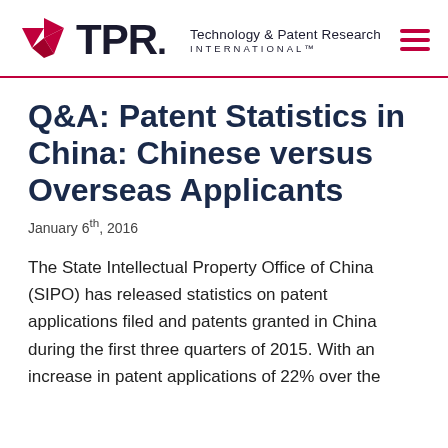TPR Technology & Patent Research INTERNATIONAL™
Q&A: Patent Statistics in China: Chinese versus Overseas Applicants
January 6th, 2016
The State Intellectual Property Office of China (SIPO) has released statistics on patent applications filed and patents granted in China during the first three quarters of 2015. With an increase in patent applications of 22% over the